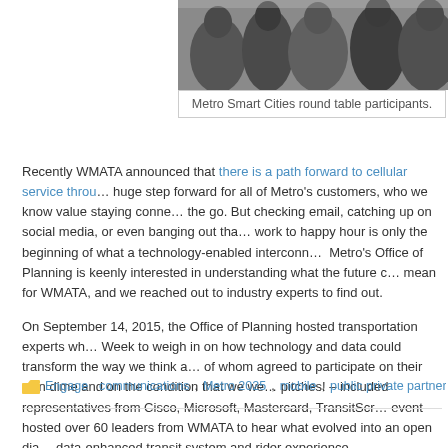[Figure (photo): Photo of Metro Smart Cities round table participants seated in chairs, partially cropped at top]
Metro Smart Cities round table participants.
Recently WMATA announced that there is a path forward to cellular service throu… huge step forward for all of Metro's customers, who we know value staying conne… the go. But checking email, catching up on social media, or even banging out tha… work to happy hour is only the beginning of what a technology-enabled interconn…  Metro's Office of Planning is keenly interested in understanding what the future c… mean for WMATA, and we reached out to industry experts to find out.
On September 14, 2015, the Office of Planning hosted transportation experts wh… Week to weigh in on how technology and data could transform the way we think a… of whom agreed to participate on their own dime and on the condition that we we… pitches! – included representatives from Cisco, Microsoft, Mastercard, TransitScr… event hosted over 60 leaders from WMATA to hear what evolved into an open dia… data-enhanced transit system and rider experience.
Here are some of the major take-aways from the event: Read more…
Engage
communications, Metro 2025, mobile, public private partnerships, sm…